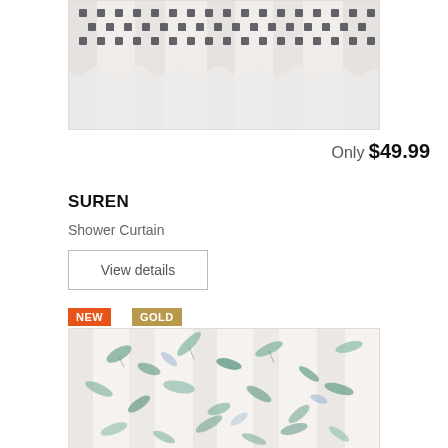[Figure (photo): Partial view of a white shower curtain with dark geometric/diamond pattern at top, shown hanging with rings]
Only $49.99
SUREN
Shower Curtain
View details
[Figure (photo): Shower curtain with tropical botanical leaf print in teal, green, and blue tones on white/cream background, shown hanging, with NEW and GOLD badges]